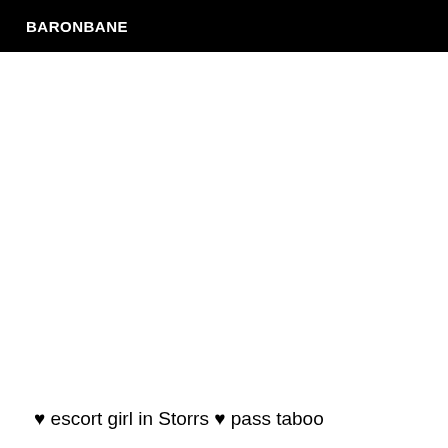BARONBANE
♥ escort girl in Storrs ♥ pass taboo